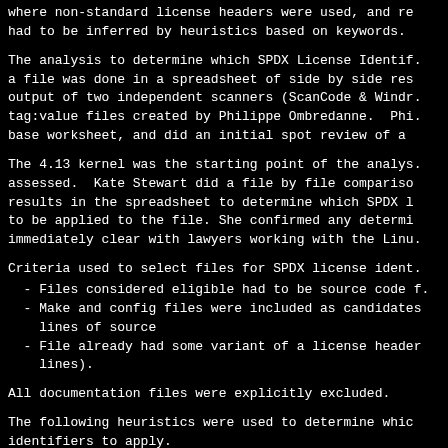where non-standard license headers were used, and re had to be inferred by heuristics based on keywords.
The analysis to determine which SPDX License Identif. a file was done in a spreadsheet of side by side res output of two independent scanners (ScanCode & Windr tag:value files created by Philippe Ombredanne. Phi base worksheet, and did an initial spot review of a
The 4.13 kernel was the starting point of the analys. assessed. Kate Stewart did a file by file compariso results in the spreadsheet to determine which SPDX l to be applied to the file. She confirmed any determi immediately clear with lawyers working with the Linu
Criteria used to select files for SPDX license ident.
- Files considered eligible had to be source code f.
- Make and config files were included as candidates lines of source
- File already had some variant of a license header lines).
All documentation files were explicitly excluded.
The following heuristics were used to determine whic identifiers to apply.
- when both scanners couldn't find any license trac considered to have no license information in it, a COPYING file license applied.